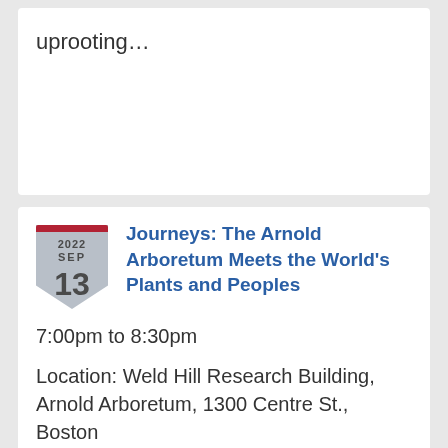uprooting…
Journeys: The Arnold Arboretum Meets the World's Plants and Peoples
7:00pm to 8:30pm
Location: Weld Hill Research Building, Arnold Arboretum, 1300 Centre St., Boston
Join the Arnold Arboretum's Director William (Ned) Friedman for the annual Director's Series! To celebrate the Arboretum's